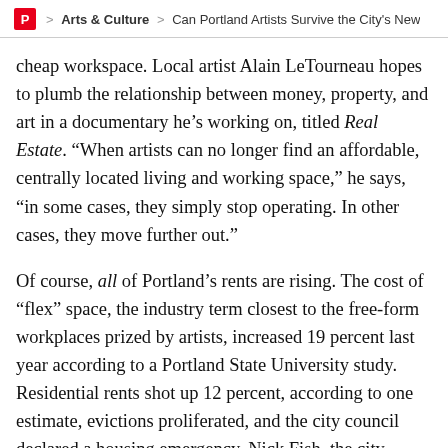P > Arts & Culture > Can Portland Artists Survive the City's New
cheap workspace. Local artist Alain LeTourneau hopes to plumb the relationship between money, property, and art in a documentary he’s working on, titled Real Estate. “When artists can no longer find an affordable, centrally located living and working space,” he says, “in some cases, they simply stop operating. In other cases, they move further out.”
Of course, all of Portland’s rents are rising. The cost of “flex” space, the industry term closest to the free-form workplaces prized by artists, increased 19 percent last year according to a Portland State University study. Residential rents shot up 12 percent, according to one estimate, evictions proliferated, and the city council declared a housing emergency. Nick Fish, the city commissioner currently in charge of arts policy, oversaw Portland’s housing bureau for many years; he concedes